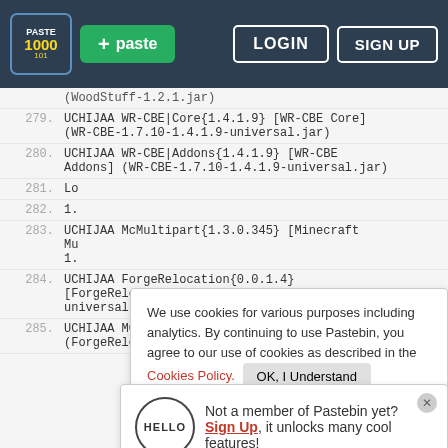Pastebin navigation bar with logo, + paste button, LOGIN and SIGN UP buttons
(WoodStuff-1.2.1.jar)
279.    UCHIJAA WR-CBE|Core{1.4.1.9} [WR-CBE Core] (WR-CBE-1.7.10-1.4.1.9-universal.jar)
280.    UCHIJAA WR-CBE|Addons{1.4.1.9} [WR-CBE Addons] (WR-CBE-1.7.10-1.4.1.9-universal.jar)
281.    Lo
282.    1.
283.    UCHIJAA McMultipart{1.3.0.345} [Minecraft Mu 1.
284.    UCHIJAA ForgeRelocation{0.0.1.4} [ForgeRelocation] (ForgeRelocation-0.0.1.4-universal.jar)
285.    UCHIJAA MCFrames{1.0} [MCFrames] (ForgeRelocation-0.0.1.4-universal.jar)
We use cookies for various purposes including analytics. By continuing to use Pastebin, you agree to our use of cookies as described in the Cookies Policy. OK, I Understand
Not a member of Pastebin yet? Sign Up, it unlocks many cool features!